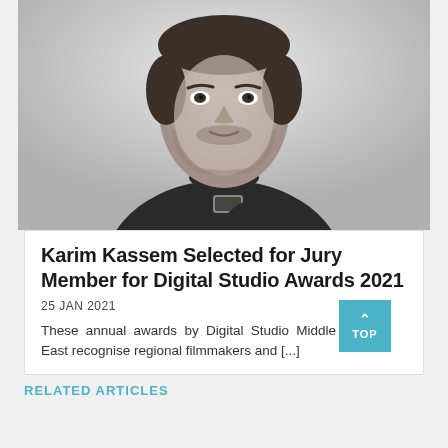[Figure (photo): Black and white portrait photo of Karim Kassem, a man in a dark turtleneck sweater with arms crossed, wearing a watch, looking directly at camera against a white background.]
Karim Kassem Selected for Jury Member for Digital Studio Awards 2021
25 JAN 2021
These annual awards by Digital Studio Middle East recognise regional filmmakers and [...]
RELATED ARTICLES